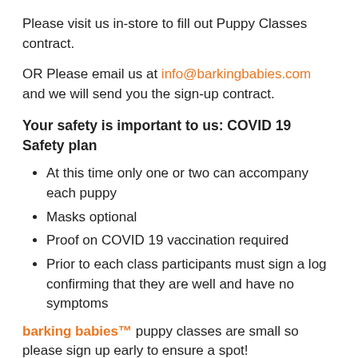Please visit us in-store to fill out Puppy Classes contract.
OR Please email us at info@barkingbabies.com and we will send you the sign-up contract.
Your safety is important to us: COVID 19 Safety plan
At this time only one or two can accompany each puppy
Masks optional
Proof on COVID 19 vaccination required
Prior to each class participants must sign a log confirming that they are well and have no symptoms
barking babies™ puppy classes are small so please sign up early to ensure a spot!